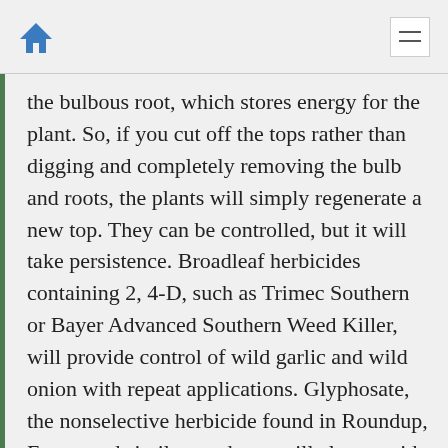Home | Menu
the bulbous root, which stores energy for the plant. So, if you cut off the tops rather than digging and completely removing the bulb and roots, the plants will simply regenerate a new top. They can be controlled, but it will take persistence. Broadleaf herbicides containing 2, 4-D, such as Trimec Southern or Bayer Advanced Southern Weed Killer, will provide control of wild garlic and wild onion with repeat applications. Glyphosate, the nonselective herbicide found in Roundup, Eraser and similar products, will also provide control of wild garlic and wild onion. However, they are vegetation killers and will kill any plant they come in contact with. For that reason, be careful when applying, making sure you treat only the targeted weeds.